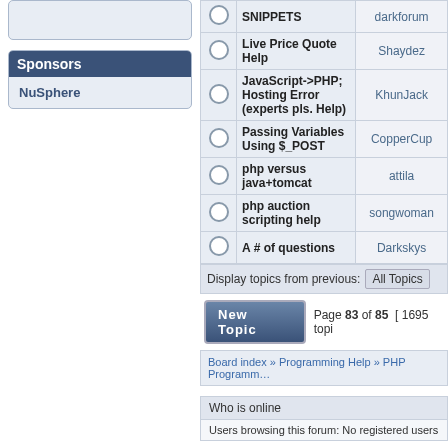Sponsors
NuSphere
|  | Topic | Author |
| --- | --- | --- |
| ○ | SNIPPETS | darkforum |
| ○ | Live Price Quote Help | Shaydez |
| ○ | JavaScript->PHP; Hosting Error (experts pls. Help) | KhunJack |
| ○ | Passing Variables Using $_POST | CopperCup |
| ○ | php versus java+tomcat | attila |
| ○ | php auction scripting help | songwoman |
| ○ | A # of questions | Darkskys |
Display topics from previous: All Topics
Page 83 of 85 [ 1695 topics ]
Board index » Programming Help » PHP Programming
Who is online
Users browsing this forum: No registered users